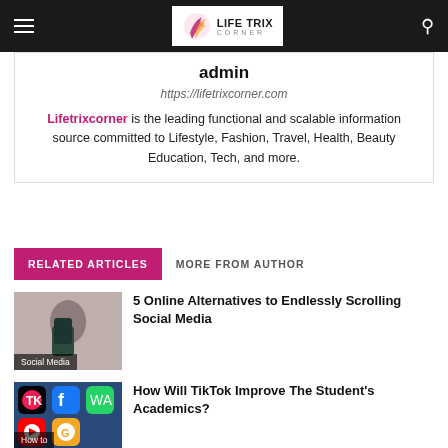Life Trix Corner
admin
https://lifetrixcorner.com
Lifetrixcorner is the leading functional and scalable information source committed to Lifestyle, Fashion, Travel, Health, Beauty Education, Tech, and more.
RELATED ARTICLES   MORE FROM AUTHOR
[Figure (photo): Person using a smartphone, blurred background. Label: Social Media]
5 Online Alternatives to Endlessly Scrolling Social Media
[Figure (photo): Social media app icons including TikTok, Facebook, WhatsApp, YouTube. Label: How to]
How Will TikTok Improve The Student's Academics?